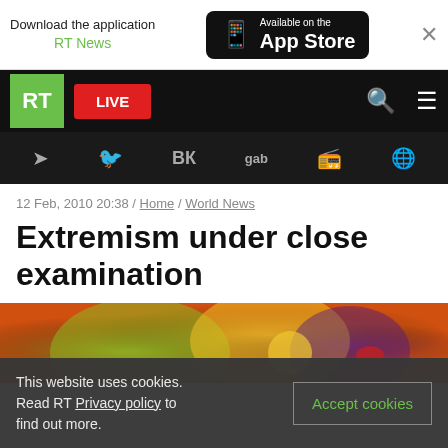[Figure (screenshot): RT News website screenshot showing ad banner, navigation bar, social bar, article breadcrumb, title, image, and cookie notice]
Download the application RT News
[Figure (logo): Available on the App Store button]
RT LIVE
12 Feb, 2010 20:38 / Home / World News
Extremism under close examination
[Figure (photo): Colorful abstract artistic image with orange, green and purple tones]
This website uses cookies. Read RT Privacy policy to find out more.